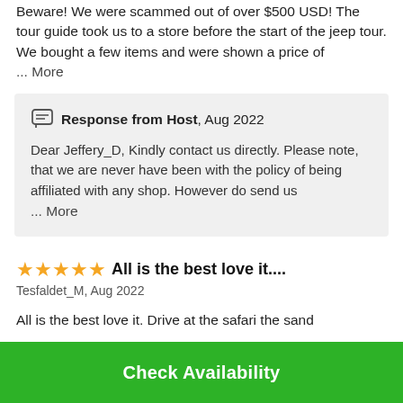Beware! We were scammed out of over $500 USD! The tour guide took us to a store before the start of the jeep tour. We bought a few items and were shown a price of ... More
Response from Host, Aug 2022
Dear Jeffery_D, Kindly contact us directly. Please note, that we are never have been with the policy of being affiliated with any shop. However do send us ... More
All is the best love it....
Tesfaldet_M, Aug 2022
All is the best love it. Drive at the safari the sand
Check Availability